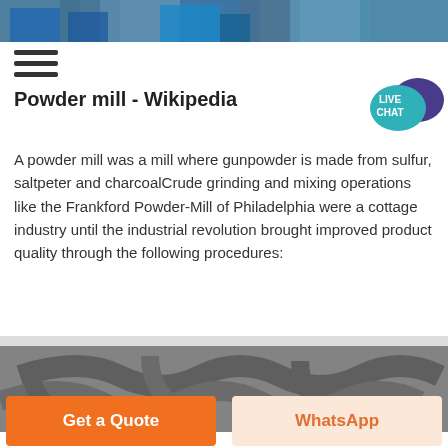[Figure (photo): Top banner photo of industrial/factory buildings with blue structures]
[Figure (other): Hamburger menu icon with three horizontal lines]
Powder mill - Wikipedia
[Figure (other): Live Chat speech bubble badge in teal and purple]
A powder mill was a mill where gunpowder is made from sulfur, saltpeter and charcoalCrude grinding and mixing operations like the Frankford Powder-Mill of Philadelphia were a cottage industry until the industrial revolution brought improved product quality through the following procedures:
[Figure (other): Chat Online button in pale yellow box with green text]
[Figure (photo): Bottom industrial photo showing large metal pipes]
[Figure (other): Get a Quote orange button]
[Figure (other): WhatsApp button in light peach color]